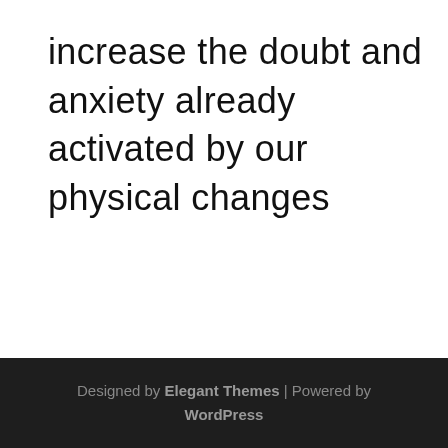increase the doubt and anxiety already activated by our physical changes
Designed by Elegant Themes | Powered by WordPress